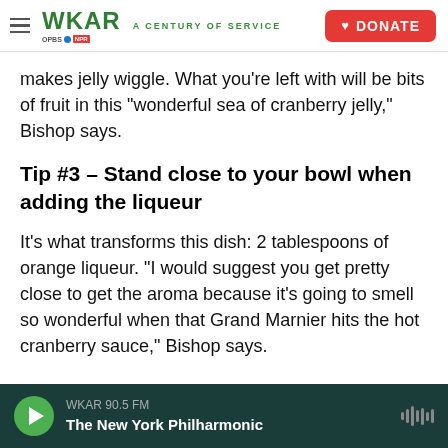WKAR A CENTURY OF SERVICE | DONATE
makes jelly wiggle. What you're left with will be bits of fruit in this "wonderful sea of cranberry jelly," Bishop says.
Tip #3 – Stand close to your bowl when adding the liqueur
It's what transforms this dish: 2 tablespoons of orange liqueur. "I would suggest you get pretty close to get the aroma because it's going to smell so wonderful when that Grand Marnier hits the hot cranberry sauce," Bishop says.
WKAR 90.5 FM | The New York Philharmonic